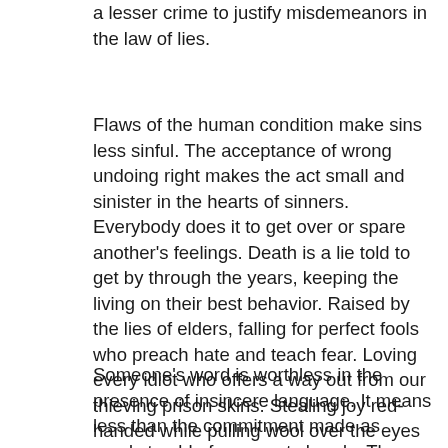a lesser crime to justify misdemeanors in the law of lies.
Flaws of the human condition make sins less sinful. The acceptance of wrong undoing right makes the act small and sinister in the hearts of sinners. Everybody does it to get over or spare another's feelings. Death is a lie told to get by through the years, keeping the living on their best behavior. Raised by the lies of elders, falling for perfect fools who preach hate and teach fear. Loving every idiot who offers a way out from our thieving prison skins. Stealing joy red-handed while pulling wool over the eyes of hopes. Laughing at the clown in the mirror telling us how great everything is.
Someone's word is worthless in the presence of insincere language. It means less than the commitment made as words tumble from empty heads. The same lame stories, except the names